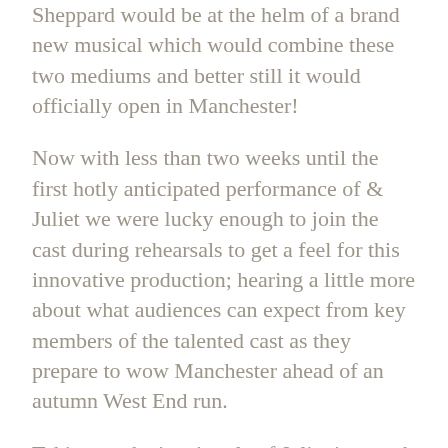Sheppard would be at the helm of a brand new musical which would combine these two mediums and better still it would officially open in Manchester!
Now with less than two weeks until the first hotly anticipated performance of & Juliet we were lucky enough to join the cast during rehearsals to get a feel for this innovative production; hearing a little more about what audiences can expect from key members of the talented cast as they prepare to wow Manchester ahead of an autumn West End run.
Taking on the iconic role of Juliet is award-winning musical theatre superstar Miriam-Teak Lee who gave us some inside information on the starting point for this